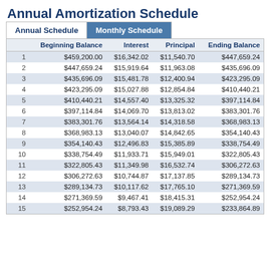Annual Amortization Schedule
|  | Beginning Balance | Interest | Principal | Ending Balance |
| --- | --- | --- | --- | --- |
| 1 | $459,200.00 | $16,342.02 | $11,540.70 | $447,659.24 |
| 2 | $447,659.24 | $15,919.64 | $11,963.08 | $435,696.09 |
| 3 | $435,696.09 | $15,481.78 | $12,400.94 | $423,295.09 |
| 4 | $423,295.09 | $15,027.88 | $12,854.84 | $410,440.21 |
| 5 | $410,440.21 | $14,557.40 | $13,325.32 | $397,114.84 |
| 6 | $397,114.84 | $14,069.70 | $13,813.02 | $383,301.76 |
| 7 | $383,301.76 | $13,564.14 | $14,318.58 | $368,983.13 |
| 8 | $368,983.13 | $13,040.07 | $14,842.65 | $354,140.43 |
| 9 | $354,140.43 | $12,496.83 | $15,385.89 | $338,754.49 |
| 10 | $338,754.49 | $11,933.71 | $15,949.01 | $322,805.43 |
| 11 | $322,805.43 | $11,349.98 | $16,532.74 | $306,272.63 |
| 12 | $306,272.63 | $10,744.87 | $17,137.85 | $289,134.73 |
| 13 | $289,134.73 | $10,117.62 | $17,765.10 | $271,369.59 |
| 14 | $271,369.59 | $9,467.41 | $18,415.31 | $252,954.24 |
| 15 | $252,954.24 | $8,793.43 | $19,089.29 | $233,864.89 |